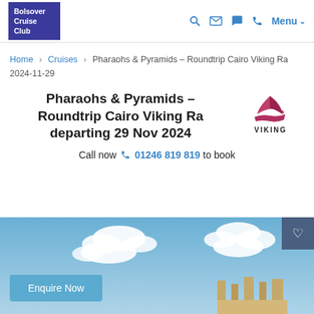Bolsover Cruise Club — Menu navigation
Home › Cruises › Pharaohs & Pyramids – Roundtrip Cairo Viking Ra 2024-11-29
Pharaohs & Pyramids – Roundtrip Cairo Viking Ra departing 29 Nov 2024
[Figure (logo): Viking cruise line logo with longship graphic and text VIKING]
Call now 01246 819 819 to book
[Figure (photo): Blue sky with clouds and ancient ruins at bottom, with Enquire Now button overlay]